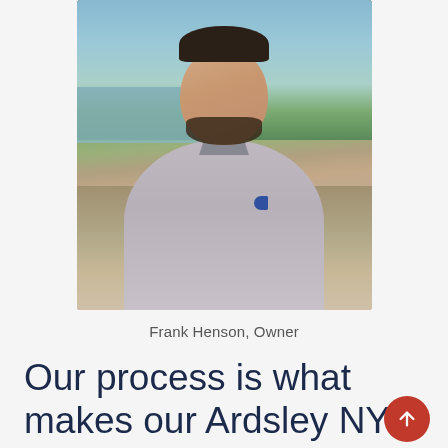[Figure (photo): Portrait photo of Frank Henson, Owner, a man with dark beard and short hair wearing a gray polo shirt, smiling outdoors with trees, hills, and a body of water in the background.]
Frank Henson, Owner
Our process is what makes our Ardsley NY interior painting services so successful